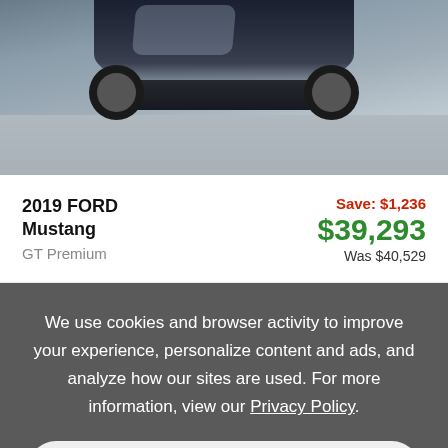[Figure (photo): Front/top view of a dark-colored 2019 Ford Mustang GT Premium on a gray parking lot surface, photographed from above at an angle showing the hood and front bumper.]
2019 FORD Mustang GT Premium
Save: $1,236 $39,293 Was $40,529
We use cookies and browser activity to improve your experience, personalize content and ads, and analyze how our sites are used. For more information, view our Privacy Policy.
Accept